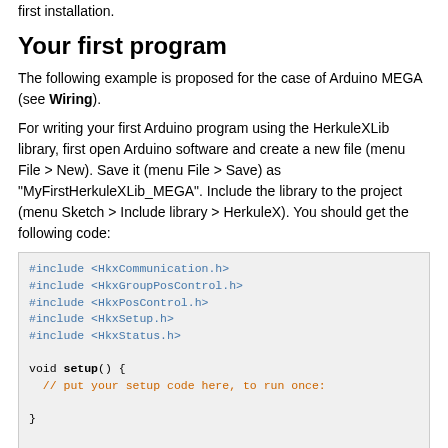first installation.
Your first program
The following example is proposed for the case of Arduino MEGA (see Wiring).
For writing your first Arduino program using the HerkuleXLib library, first open Arduino software and create a new file (menu File > New). Save it (menu File > Save) as "MyFirstHerkuleXLib_MEGA". Include the library to the project (menu Sketch > Include library > HerkuleX). You should get the following code:
[Figure (screenshot): Code block showing Arduino sketch with #include directives for HkxCommunication.h, HkxGroupPosControl.h, HkxPosControl.h, HkxSetup.h, HkxStatus.h, and empty void setup() and void loop() function bodies with placeholder comments.]